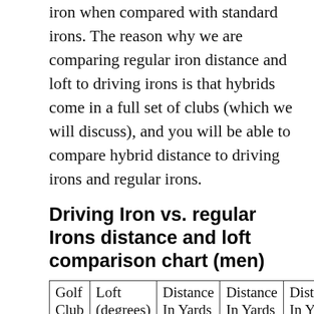iron when compared with standard irons. The reason why we are comparing regular iron distance and loft to driving irons is that hybrids come in a full set of clubs (which we will discuss), and you will be able to compare hybrid distance to driving irons and regular irons.
Driving Iron vs. regular Irons distance and loft comparison chart (men)
| Golf Club | Loft (degrees) | Distance In Yards | Distance In Yards | Distan In Y... |
| --- | --- | --- | --- | --- |